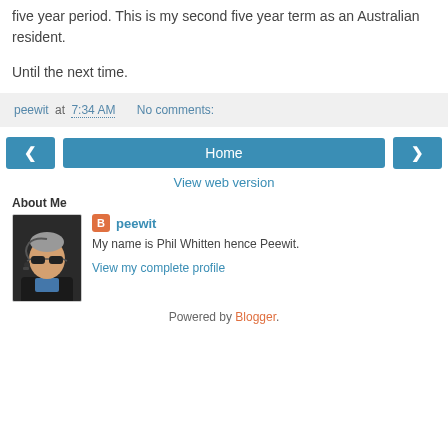five year period. This is my second five year term as an Australian resident.
Until the next time.
peewit at 7:34 AM    No comments:
[Figure (screenshot): Navigation buttons: left arrow, Home, right arrow]
View web version
About Me
[Figure (photo): Profile photo of a man wearing sunglasses and a headset microphone]
peewit
My name is Phil Whitten hence Peewit.
View my complete profile
Powered by Blogger.